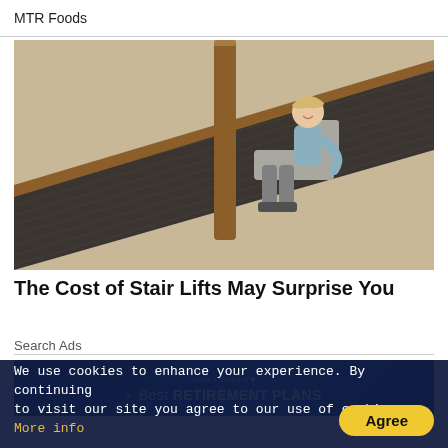MTR Foods
[Figure (photo): A woman sitting on a stair lift chair on a carpeted staircase with a wooden banister, smiling at the camera.]
The Cost of Stair Lifts May Surprise You
Search Ads
[Figure (other): Policy Bazaar advertisement banner with text: Best RETIREMENT PLANS]
We use cookies to enhance your experience. By continuing to visit our site you agree to our use of cookies. More info
Agree